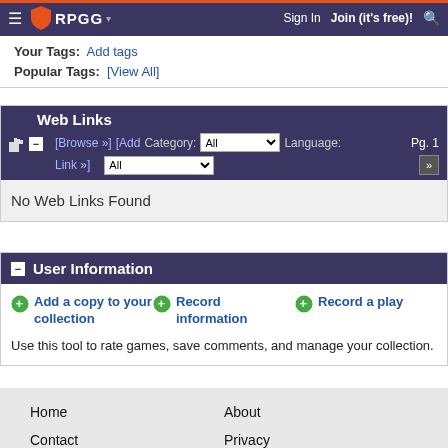RPGG | Sign In | Join (it's free)!
Your Tags: Add tags
Popular Tags: [View All]
Web Links
[Browse »] [Add Link »] Category: All Language: All Pg. 1
No Web Links Found
User Information
Add a copy to your collection | Record information | Record a play
Use this tool to rate games, save comments, and manage your collection.
Home | About | Contact | Privacy | Terms | Advertise | Support BGG